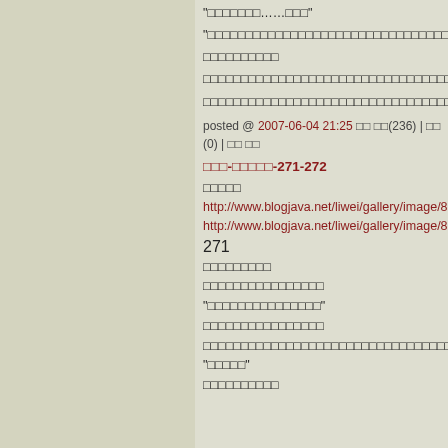“□□□□□□□……□□□”
“□□□□□□□□□□□□□□□□□□□□□□□□□□□□□□□□□□□□□□□□□□□□□□□□□□”
□□□□□□□□□□
□□□□□□□□□□□□□□□□□□□□□□□□□□□□□□□□□□□□□□□□□□□□□□□□□□□□□□□□□□□□□□□□□
□□□□□□□□□□□□□□□□□□□□□□□□□□□□□□□□□□
posted @ 2007-06-04 21:25 □□ □□(236) | □□ (0) | □□ □□
□□□-□□□□□-271-272
□□□□□
http://www.blogjava.net/liwei/gallery/image/8338.html
http://www.blogjava.net/liwei/gallery/image/8339.html
271
□□□□□□□□□
□□□□□□□□□□□□□□□□
“□□□□□□□□□□□□□□□”
□□□□□□□□□□□□□□□□
□□□□□□□□□□□□□□□□□□□□□□□□□□□□□□□□□□□□□□□□□□□□□□□□□□□□□□□
“□□□□□”
□□□□□□□□□□